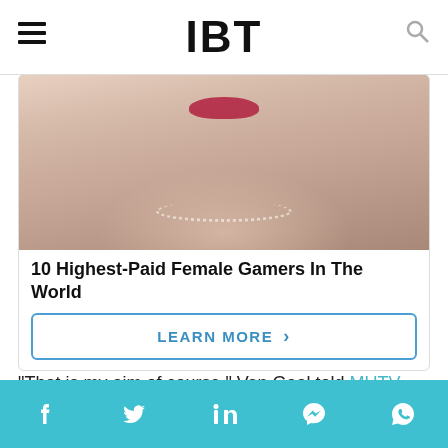IBT
[Figure (photo): Close-up photo of a woman with red lipstick and a pearl necklace wearing a mauve/taupe top]
10 Highest-Paid Female Gamers In The World
LEARN MORE >
"That is my aim of course," Van Gaal told MUTV when asked about his expectations for this final. "I want to lift the cup here in England and then I have done it in four different countries, but the most important thing is the celebration..."
Social share bar: Facebook, Twitter, LinkedIn, Messenger, WhatsApp